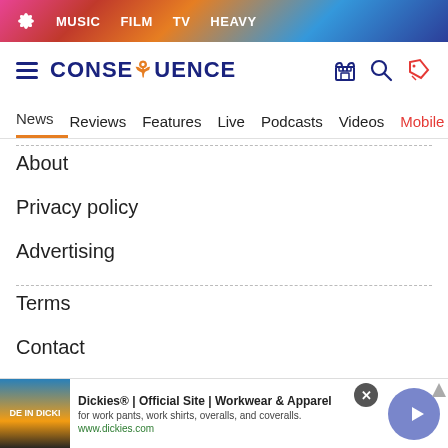MUSIC  FILM  TV  HEAVY
[Figure (screenshot): Consequence of Sound website header with logo, hamburger menu, search, and tag icons]
News  Reviews  Features  Live  Podcasts  Videos  Mobile A
About
Privacy policy
Advertising
Terms
Contact
Copyright
[Figure (screenshot): Dickies advertisement banner: Dickies® | Official Site | Workwear & Apparel, for work pants, work shirts, overalls, and coveralls. www.dickies.com]